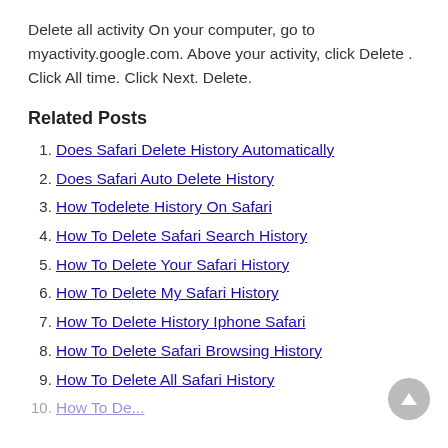Delete all activity On your computer, go to myactivity.google.com. Above your activity, click Delete . Click All time. Click Next. Delete.
Related Posts
Does Safari Delete History Automatically
Does Safari Auto Delete History
How Todelete History On Safari
How To Delete Safari Search History
How To Delete Your Safari History
How To Delete My Safari History
How To Delete History Iphone Safari
How To Delete Safari Browsing History
How To Delete All Safari History
How To Delete...